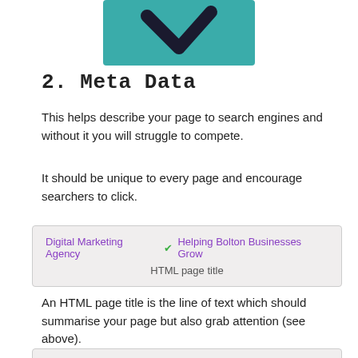[Figure (logo): Teal/green square logo with a dark checkmark/V shape]
2. Meta Data
This helps describe your page to search engines and without it you will struggle to compete.
It should be unique to every page and encourage searchers to click.
[Figure (screenshot): Search result snippet box showing 'Digital Marketing Agency' (purple) with a green checkmark and 'Helping Bolton Businesses Grow' (purple), and below it 'HTML page title' in grey]
An HTML page title is the line of text which should summarise your page but also grab attention (see above).